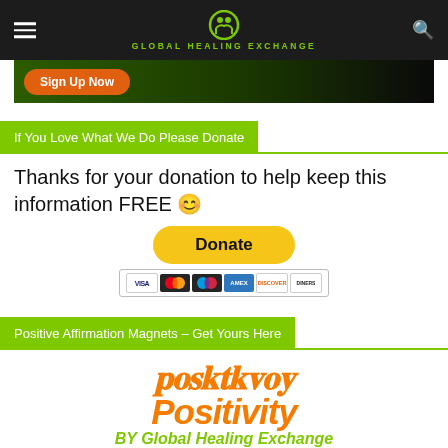Global Healing Exchange
[Figure (screenshot): Sign Up Now advertisement banner with orange button and person in black]
If You Love What We Do Please Donate
Thanks for your donation to help keep this information FREE 🙂
[Figure (screenshot): PayPal Donate button with credit card icons (Visa, Mastercard, Maestro, Amex, Discover, Diners)]
Positive Affirmation Magnets – Get Yours Here
[Figure (logo): Positivity BY Global Healing Exchange logo in orange and green italic text]